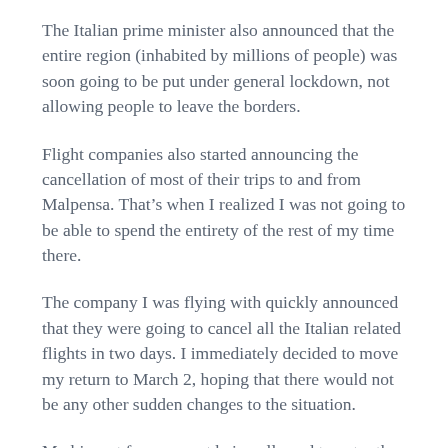The Italian prime minister also announced that the entire region (inhabited by millions of people) was soon going to be put under general lockdown, not allowing people to leave the borders.
Flight companies also started announcing the cancellation of most of their trips to and from Malpensa. That's when I realized I was not going to be able to spend the entirety of the rest of my time there.
The company I was flying with quickly announced that they were going to cancel all the Italian related flights in two days. I immediately decided to move my return to March 2, hoping that there would not be any other sudden changes to the situation.
My biggest fear was not being allowed to enter the U.S. considering the place where I had just been. With plenty of